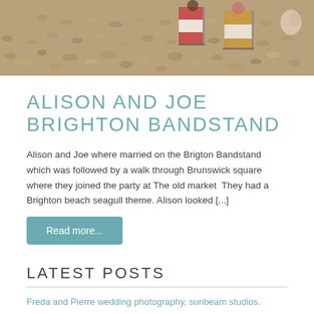[Figure (photo): Beach pebbles with deckchairs in background]
ALISON AND JOE BRIGHTON BANDSTAND
Alison and Joe where married on the Brigton Bandstand which was followed by a walk through Brunswick square where they joined the party at The old market  They had a Brighton beach seagull theme. Alison looked [...]
Read more...
LATEST POSTS
Freda and Pierre wedding photography, sunbeam studios.
Sam and Tristan
Hannah and Richard
Annie and George
Chloe and James